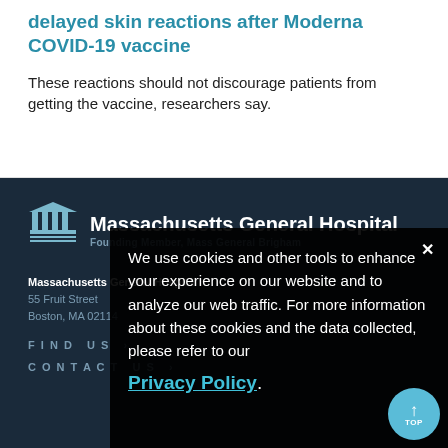delayed skin reactions after Moderna COVID-19 vaccine
These reactions should not discourage patients from getting the vaccine, researchers say.
[Figure (screenshot): Massachusetts General Hospital website footer with dark navy background, showing hospital logo (columns icon), name, address (55 Fruit Street, Boston, MA 02114), Find Us and Contact Us links.]
We use cookies and other tools to enhance your experience on our website and to analyze our web traffic. For more information about these cookies and the data collected, please refer to our Privacy Policy.